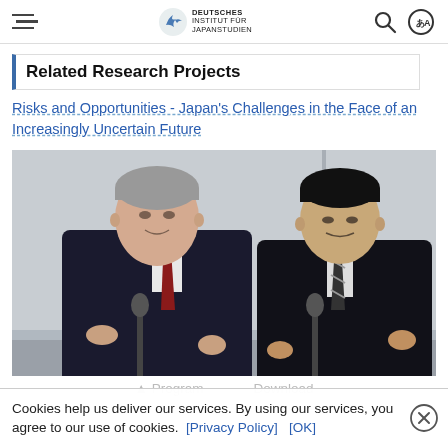[Navigation bar with hamburger menu, Deutsches Institut für Japanstudien logo, search icon, language icon]
Related Research Projects
Risks and Opportunities - Japan's Challenges in the Face of an Increasingly Uncertain Future
[Figure (photo): Two men in dark suits standing at microphones, one Caucasian with grey hair wearing a red tie, one Asian man wearing a striped tie, both appearing to speak at a formal event in front of a light background.]
Cookies help us deliver our services. By using our services, you agree to our use of cookies.  [Privacy Policy]  [OK]